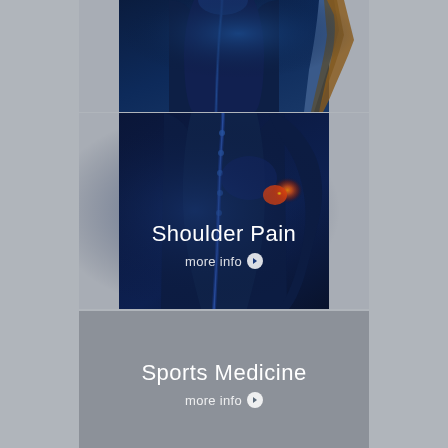[Figure (photo): Medical illustration of the back of a human neck/upper back, blue-toned anatomical render showing spine and neck area]
[Figure (photo): Medical illustration of the back of a human torso showing the spine and a glowing orange/red highlighted shoulder joint indicating shoulder pain, blue-toned anatomical render]
Shoulder Pain
more info ❯
[Figure (photo): Gray background panel for Sports Medicine section]
Sports Medicine
more info ❯